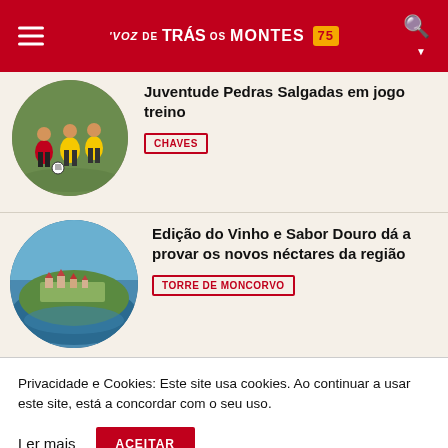Voz de Trás-os-Montes 75
[Figure (photo): Soccer players in red and yellow jerseys in a training match on a grass field]
Juventude Pedras Salgadas em jogo treino
CHAVES
[Figure (photo): Aerial view of Torre de Moncorvo town beside the Douro river]
Edição do Vinho e Sabor Douro dá a provar os novos néctares da região
TORRE DE MONCORVO
Privacidade e Cookies: Este site usa cookies. Ao continuar a usar este site, está a concordar com o seu uso.
Ler mais
ACEITAR